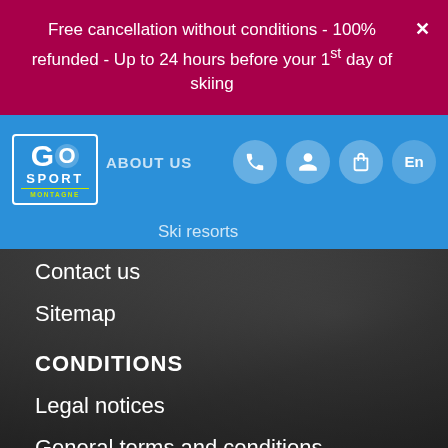Free cancellation without conditions - 100% refunded - Up to 24 hours before your 1st day of skiing
[Figure (logo): Go Sport Montagne logo — white text on blue background with yellow MONTAGNE subtitle]
ABOUT US
Ski resorts
Contact us
Sitemap
CONDITIONS
Legal notices
General terms and conditions
Privacy Policy
Cookie Policy